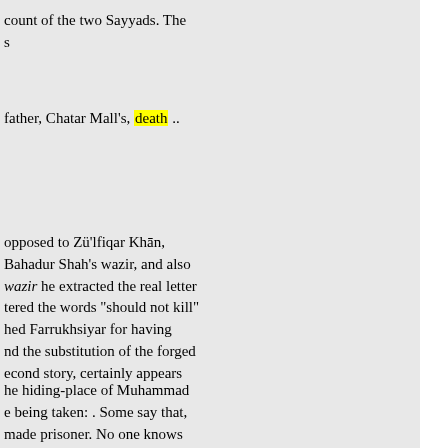count of the two Sayyads. The s
father, Chatar Mall's, death ..
opposed to Zü'lfiqar Khān, Bahadur Shah's wazir, and also wazir he extracted the real letter tered the words "should not kill" hed Farrukhsiyar for having nd the substitution of the forged econd story, certainly appears
he hiding-place of Muhammad e being taken: . Some say that, made prisoner. No one knows e revenge. · As faujdār of some Udhū. This man, thirsting for the n the quarters of Shābganj and n, and secured in exchange the
Zā,lfiqar Khān. On the 11th ort day it was intimated to the